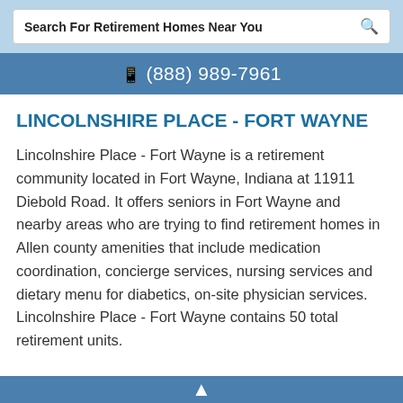Search For Retirement Homes Near You
(888) 989-7961
LINCOLNSHIRE PLACE - FORT WAYNE
Lincolnshire Place - Fort Wayne is a retirement community located in Fort Wayne, Indiana at 11911 Diebold Road. It offers seniors in Fort Wayne and nearby areas who are trying to find retirement homes in Allen county amenities that include medication coordination, concierge services, nursing services and dietary menu for diabetics, on-site physician services. Lincolnshire Place - Fort Wayne contains 50 total retirement units.